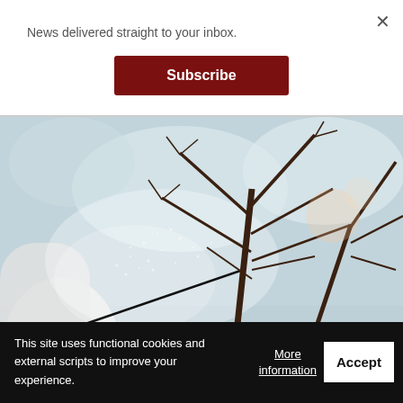News delivered straight to your inbox.
Subscribe
[Figure (photo): Person in white protective clothing spraying pesticide or water on bare winter tree branches, with mist visible in the air against a light sky background.]
This site uses functional cookies and external scripts to improve your experience.
More information
Accept